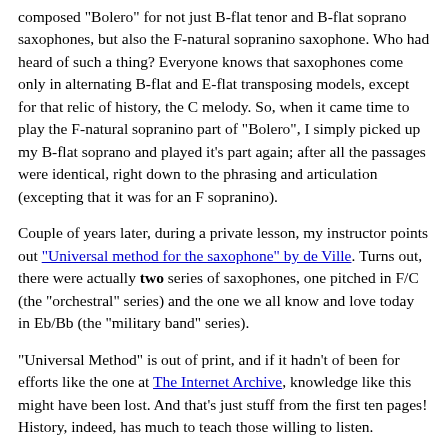composed "Bolero" for not just B-flat tenor and B-flat soprano saxophones, but also the F-natural sopranino saxophone. Who had heard of such a thing? Everyone knows that saxophones come only in alternating B-flat and E-flat transposing models, except for that relic of history, the C melody. So, when it came time to play the F-natural sopranino part of "Bolero", I simply picked up my B-flat soprano and played it's part again; after all the passages were identical, right down to the phrasing and articulation (excepting that it was for an F sopranino).
Couple of years later, during a private lesson, my instructor points out "Universal method for the saxophone" by de Ville. Turns out, there were actually two series of saxophones, one pitched in F/C (the "orchestral" series) and the one we all know and love today in Eb/Bb (the "military band" series).
"Universal Method" is out of print, and if it hadn't of been for efforts like the one at The Internet Archive, knowledge like this might have been lost. And that's just stuff from the first ten pages! History, indeed, has much to teach those willing to listen.
posted at: 04:55 | path: | permanent link to this entry
Fri, 08 Apr 2011